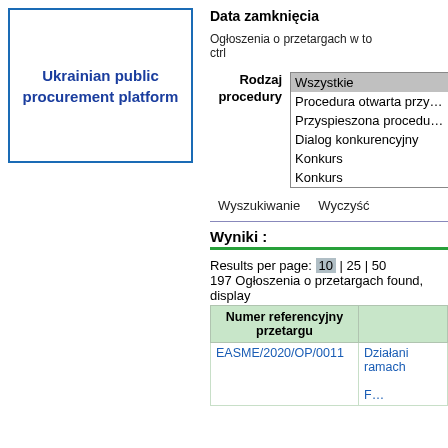[Figure (logo): Ukrainian public procurement platform logo in a blue-bordered box]
Data zamknięcia
Ogłoszenia o przetargach w to ctrl
Rodzaj procedury
Wszystkie
Procedura otwarta przyspi
Przyspieszona procedura o
Dialog konkurencyjny
Konkurs
Konkurs
Wyszukiwanie    Wyczyść
Wyniki :
Results per page: 10 | 25 | 50
197 Ogłoszenia o przetargach found, display
| Numer referencyjny przetargu |  |
| --- | --- |
| EASME/2020/OP/0011 | Działani ramach |